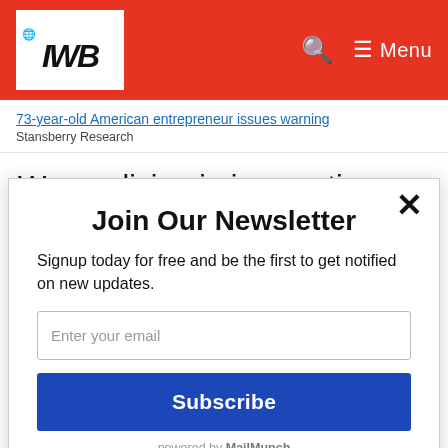[Figure (logo): IWB globe logo on white box, red header navigation bar with search icon and menu]
73-year-old American entrepreneur issues warning
Stansberry Research
We are living in insane times. Democrats attempts to open the borders, kill our
Join Our Newsletter
Signup today for free and be the first to get notified on new updates.
Enter your email
Subscribe
powered by MailMunch